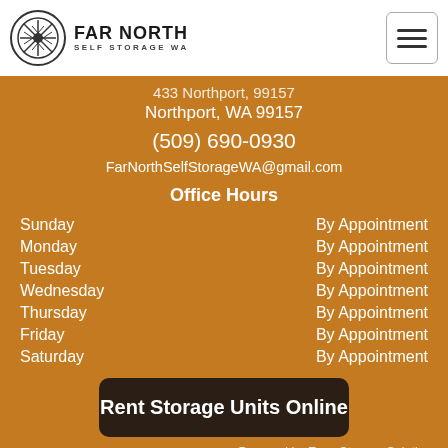Far North Self Storage WA
Northport, WA 99157
(509) 690-0930
FarNorthSelfStorageWA@gmail.com
Office Hours
| Day | Hours |
| --- | --- |
| Sunday | By Appointment |
| Monday | By Appointment |
| Tuesday | By Appointment |
| Wednesday | By Appointment |
| Thursday | By Appointment |
| Friday | By Appointment |
| Saturday | By Appointment |
Rent Storage Units Online
Powered by Easy Storage Solutions